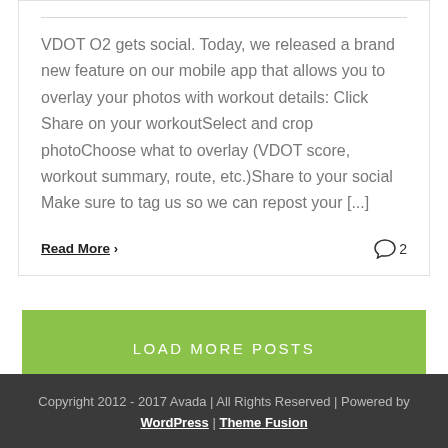VDOT O2 gets social. Today, we released a brand new feature on our mobile app that allows you to overlay your photos with workout details: Click Share on your workoutSelect and crop photoChoose what to overlay (VDOT score, workout summary, route, etc.)Share to your social Make sure to tag us so we can repost your [...]
Read More › | 💬2
LOAD MORE POSTS
Copyright 2012 - 2017 Avada | All Rights Reserved | Powered by WordPress | Theme Fusion